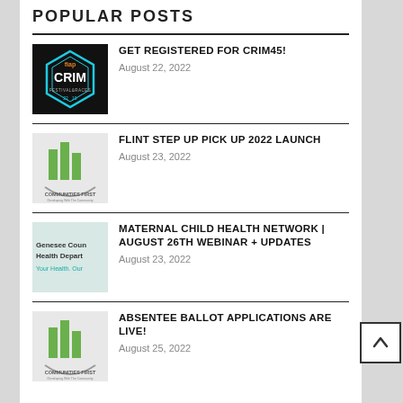POPULAR POSTS
GET REGISTERED FOR CRIM45! August 22, 2022
FLINT STEP UP PICK UP 2022 LAUNCH August 23, 2022
MATERNAL CHILD HEALTH NETWORK | AUGUST 26TH WEBINAR + UPDATES August 23, 2022
ABSENTEE BALLOT APPLICATIONS ARE LIVE! August 25, 2022